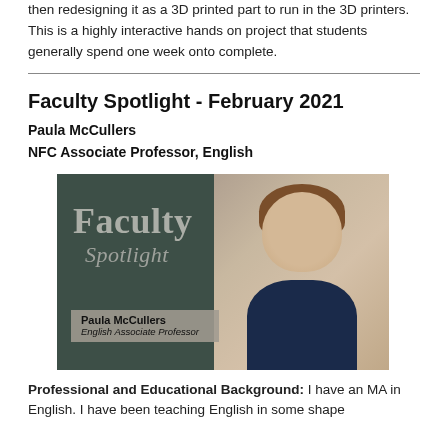then redesigning it as a 3D printed part to run in the 3D printers. This is a highly interactive hands on project that students generally spend one week onto complete.
Faculty Spotlight - February 2021
Paula McCullers
NFC Associate Professor, English
[Figure (photo): Faculty Spotlight photo of Paula McCullers, English Associate Professor, with text 'Faculty Spotlight' overlaid on a dark green background beside her professional headshot]
Professional and Educational Background: I have an MA in English. I have been teaching English in some shape